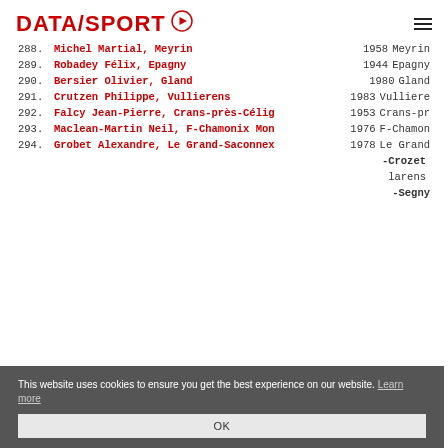DATASPORT (logo with play icon and hamburger menu)
288. Michel Martial, Meyrin  1958  Meyrin
289. Robadey Félix, Epagny  1944  Epagny
290. Bersier Olivier, Gland  1980  Gland
291. Crutzen Philippe, Vullierens  1983  Vulliere
292. Falcy Jean-Pierre, Crans-près-Célig  1953  Crans-pr
293. Maclean-Martin Neil, F-Chamonix Mon  1976  F-Chamon
294. Grobet Alexandre, Le Grand-Saconnex  1978  Le Grand
...  -Crozet
...  larens
...  -Segny
This website uses cookies to ensure you get the best experience on our website. Learn more | OK